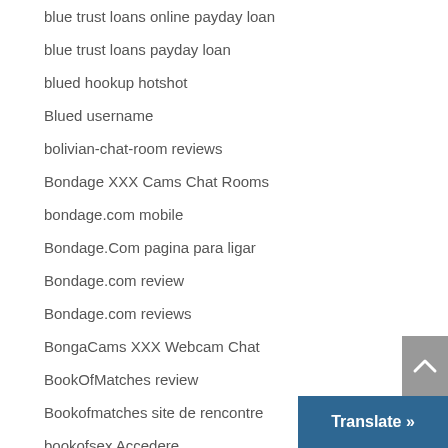blue trust loans online payday loan
blue trust loans payday loan
blued hookup hotshot
Blued username
bolivian-chat-room reviews
Bondage XXX Cams Chat Rooms
bondage.com mobile
Bondage.Com pagina para ligar
Bondage.com review
Bondage.com reviews
BongaCams XXX Webcam Chat
BookOfMatches review
Bookofmatches site de rencontre
bookofsex Accedere